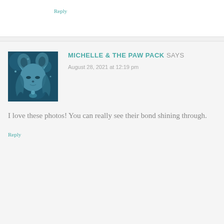Reply
[Figure (illustration): Avatar image of a fantasy-style illustrated woman wearing a wolf/animal headdress with flowing hair, rendered in blue-teal tones]
MICHELLE & THE PAW PACK SAYS
August 28, 2021 at 12:19 pm
I love these photos! You can really see their bond shining through.
Reply